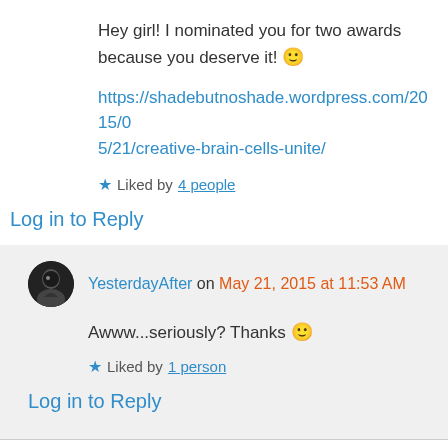Hey girl! I nominated you for two awards because you deserve it! 🙂
https://shadebutnoshade.wordpress.com/2015/05/21/creative-brain-cells-unite/
★ Liked by 4 people
Log in to Reply
YesterdayAfter on May 21, 2015 at 11:53 AM
Awww...seriously? Thanks 🙂
★ Liked by 1 person
Log in to Reply